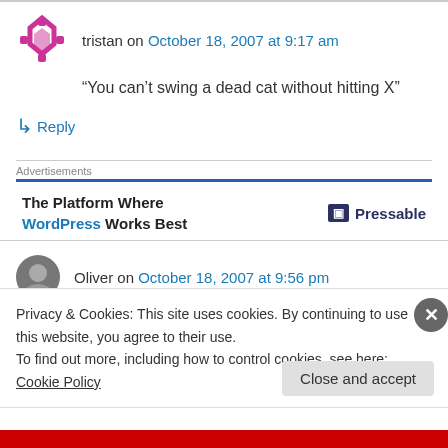tristan on October 18, 2007 at 9:17 am
“You can’t swing a dead cat without hitting X”
↳ Reply
Advertisements
[Figure (other): Advertisement banner: The Platform Where WordPress Works Best - Pressable logo]
Oliver on October 18, 2007 at 9:56 pm
Privacy & Cookies: This site uses cookies. By continuing to use this website, you agree to their use.
To find out more, including how to control cookies, see here: Cookie Policy
Close and accept